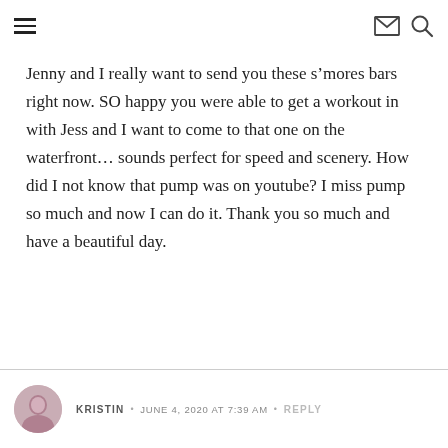Navigation menu, mail icon, search icon
Jenny and I really want to send you these s’mores bars right now. SO happy you were able to get a workout in with Jess and I want to come to that one on the waterfront… sounds perfect for speed and scenery. How did I not know that pump was on youtube? I miss pump so much and now I can do it. Thank you so much and have a beautiful day.
KRISTIN • JUNE 4, 2020 AT 7:39 AM • REPLY